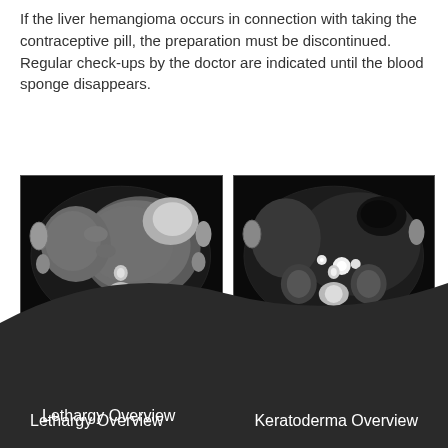If the liver hemangioma occurs in connection with taking the contraceptive pill, the preparation must be discontinued. Regular check-ups by the doctor are indicated until the blood sponge disappears.
[Figure (photo): CT scan image of liver hemangioma - axial cross-section showing grayscale abdominal CT with liver mass, left panel]
[Figure (photo): CT scan image of liver hemangioma - axial cross-section showing grayscale abdominal CT with liver mass and contrast, right panel]
Lethargy Overview    Keratoderma Overview